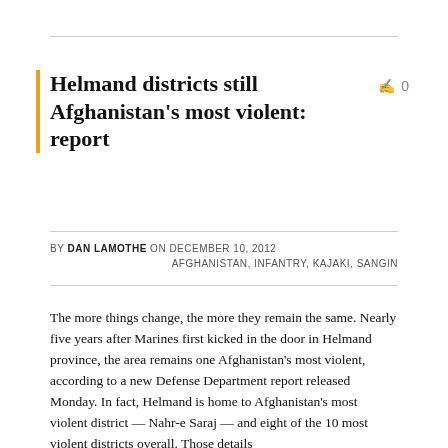Helmand districts still Afghanistan's most violent: report
BY DAN LAMOTHE ON DECEMBER 10, 2012
AFGHANISTAN, INFANTRY, KAJAKI, SANGIN
The more things change, the more they remain the same. Nearly five years after Marines first kicked in the door in Helmand province, the area remains one Afghanistan's most violent, according to a new Defense Department report released Monday. In fact, Helmand is home to Afghanistan's most violent district — Nahr-e Saraj — and eight of the 10 most violent districts overall. Those details